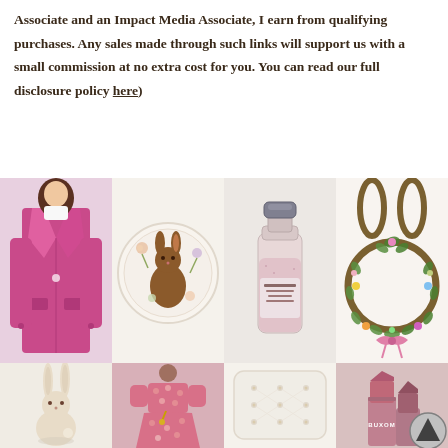Associate and an Impact Media Associate, I earn from qualifying purchases. Any sales made through such links will support us with a small commission at no extra cost for you. You can read our full disclosure policy here)
[Figure (photo): Grid of 8 product photos: pink coat, Easter bunny plate, pink perfume bottle, floral bunny wreath, ceramic bunny statue, pink floral dress, white tufted pillow, Buxom lipstick. Plus back-to-top arrow button.]